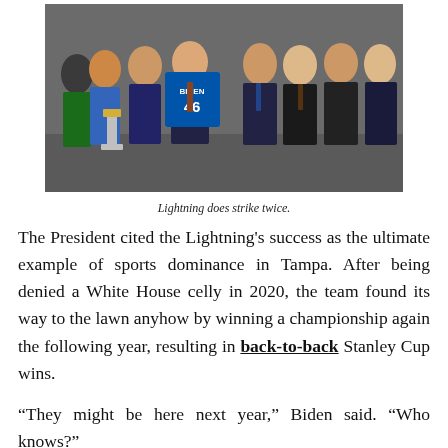[Figure (photo): Group photo of people in formal attire; a person in the center holds a blue Tampa Bay Lightning jersey with 'BIDEN 46' on it, and the Stanley Cup is visible in the foreground tilted at an angle.]
Lightning does strike twice.
The President cited the Lightning's success as the ultimate example of sports dominance in Tampa. After being denied a White House celly in 2020, the team found its way to the lawn anyhow by winning a championship again the following year, resulting in back-to-back Stanley Cup wins.
“They might be here next year,” Biden said. “Who knows?”